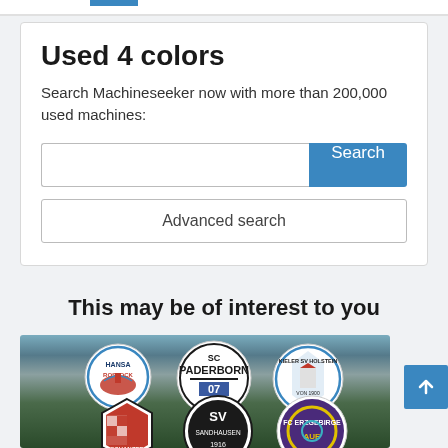Used 4 colors
Search Machineseeker now with more than 200,000 used machines:
[Figure (screenshot): Search input box with blue Search button and Advanced search button below]
This may be of interest to you
[Figure (photo): Football club logos on grass background: Hansa Rostock, SC Paderborn 07, Holstein Kiel (top row), FC Ingolstadt Schanzer, SV Sandhausen 1916, FC Erzgebirge Aue (bottom row)]